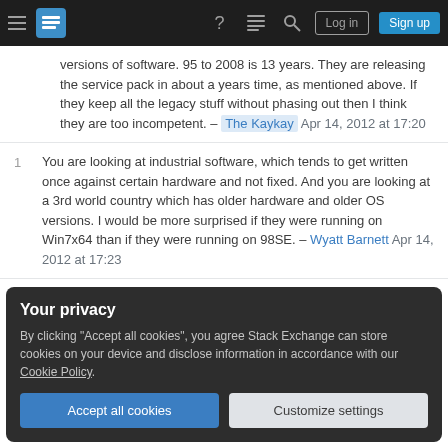Stack Exchange navigation bar with Log in and Sign up buttons
versions of software. 95 to 2008 is 13 years. They are releasing the service pack in about a years time, as mentioned above. If they keep all the legacy stuff without phasing out then I think they are too incompetent. – The Kaykay Apr 14, 2012 at 17:20
1 You are looking at industrial software, which tends to get written once against certain hardware and not fixed. And you are looking at a 3rd world country which has older hardware and older OS versions. I would be more surprised if they were running on Win7x64 than if they were running on 98SE. – Wyatt Barnett Apr 14, 2012 at 17:23
Your privacy
By clicking "Accept all cookies", you agree Stack Exchange can store cookies on your device and disclose information in accordance with our Cookie Policy.
Accept all cookies | Customize settings